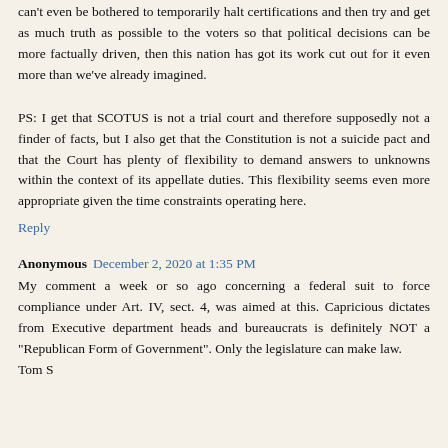can't even be bothered to temporarily halt certifications and then try and get as much truth as possible to the voters so that political decisions can be more factually driven, then this nation has got its work cut out for it even more than we've already imagined.
PS: I get that SCOTUS is not a trial court and therefore supposedly not a finder of facts, but I also get that the Constitution is not a suicide pact and that the Court has plenty of flexibility to demand answers to unknowns within the context of its appellate duties. This flexibility seems even more appropriate given the time constraints operating here.
Reply
Anonymous  December 2, 2020 at 1:35 PM
My comment a week or so ago concerning a federal suit to force compliance under Art. IV, sect. 4, was aimed at this. Capricious dictates from Executive department heads and bureaucrats is definitely NOT a "Republican Form of Government". Only the legislature can make law.
Tom S